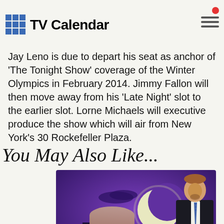TV Calendar
Jay Leno is due to depart his seat as anchor of 'The Tonight Show' coverage of the Winter Olympics in February 2014. Jimmy Fallon will then move away from his 'Late Night' slot to the earlier slot. Lorne Michaels will executive produce the show which will air from New York's 30 Rockefeller Plaza.
You May Also Like...
[Figure (photo): Promotional image for the TV show 'Conan' — purple background with crescent moon, cityscape silhouette, and a man in a dark suit standing to the right. A white heart icon appears in the bottom right. The label 'Conan' appears in white text at the bottom left.]